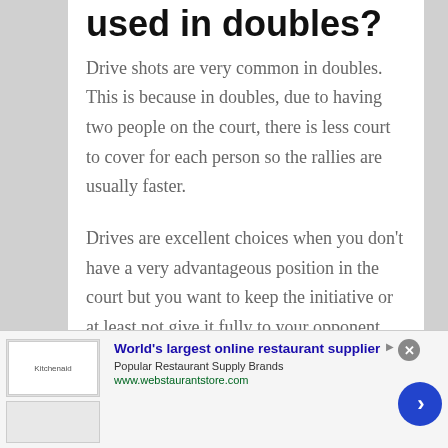used in doubles?
Drive shots are very common in doubles. This is because in doubles, due to having two people on the court, there is less court to cover for each person so the rallies are usually faster.
Drives are excellent choices when you don't have a very advantageous position in the court but you want to keep the initiative or at least not give it fully to your opponent. Drives can
[Figure (infographic): Advertisement banner for webstaurantstore.com — World's largest online restaurant supplier, with logo image and navigation arrow button]